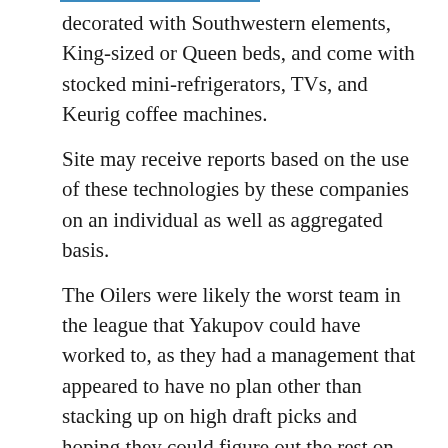decorated with Southwestern elements, King-sized or Queen beds, and come with stocked mini-refrigerators, TVs, and Keurig coffee machines.
Site may receive reports based on the use of these technologies by these companies on an individual as well as aggregated basis.
The Oilers were likely the worst team in the league that Yakupov could have worked to, as they had a management that appeared to have no plan other than stacking up on high draft picks and hoping they could figure out the rest on their own.
Red Bull gives you wings.
Lionel Messi $104 million $72 million 432 million Soccer 4.